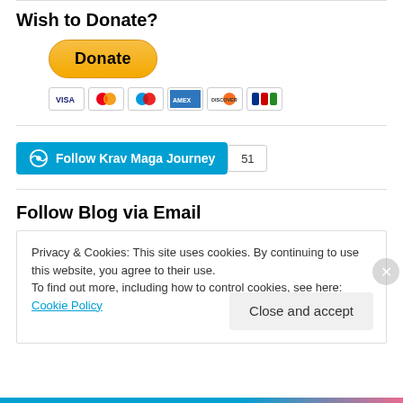Wish to Donate?
[Figure (other): PayPal Donate button (yellow/gold rounded button with black text 'Donate') followed by payment card icons: Visa, Mastercard, Maestro, American Express, Discover, JCB]
[Figure (other): WordPress 'Follow Krav Maga Journey' button in blue with WordPress logo, with follower count badge showing 51]
Follow Blog via Email
Privacy & Cookies: This site uses cookies. By continuing to use this website, you agree to their use.
To find out more, including how to control cookies, see here: Cookie Policy
Close and accept